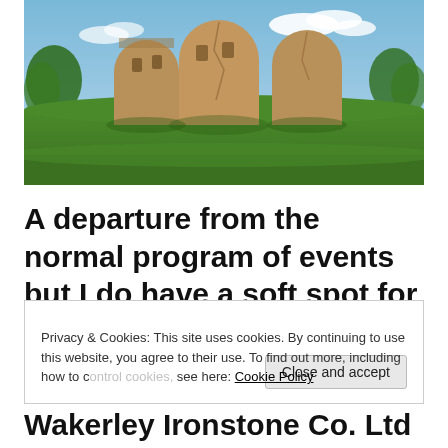[Figure (photo): Photograph of ruined circular stone kilns or towers in a green field under a blue sky with white clouds. The structures appear to be remnants of ironstone or industrial workings.]
A departure from the normal program of events but I do have a soft spot for
Privacy & Cookies: This site uses cookies. By continuing to use this website, you agree to their use. To find out more, including how to control cookies, see here: Cookie Policy
Wakerley Ironstone Co. Ltd (from